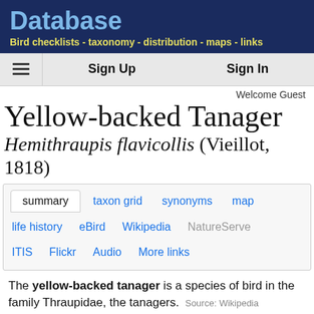Database
Bird checklists - taxonomy - distribution - maps - links
Sign Up   Sign In
Welcome Guest
Yellow-backed Tanager
Hemithraupis flavicollis (Vieillot, 1818)
summary   taxon grid   synonyms   map   life history   eBird   Wikipedia   NatureServe   ITIS   Flickr   Audio   More links
The yellow-backed tanager is a species of bird in the family Thraupidae, the tanagers. Source: Wikipedia